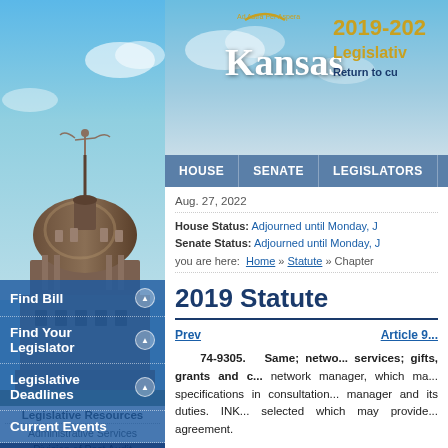[Figure (screenshot): Kansas State Capitol building dome with statue on top, against blue sky background]
[Figure (logo): Kansas state logo with seal arc and text '2019-2022 Legislative... Return to cu...']
Find Bill
Find Your Legislator
Legislative Deadlines
Current Events
Statute
Legislative Resources
Administrative Services
Division of Post Audit
Information Services
Research Department
HOUSE   SENATE   LEGISLATORS
Aug. 27, 2022
House Status: Adjourned until Monday, J...
Senate Status: Adjourned until Monday, J...
you are here: Home » Statute » Chapter...
2019 Statute
Prev    Article 9...
74-9305.  Same; netwo... services; gifts, grants and c... network manager, which ma... specifications in consultation... manager and its duties. INK... selected which may provide... agreement.